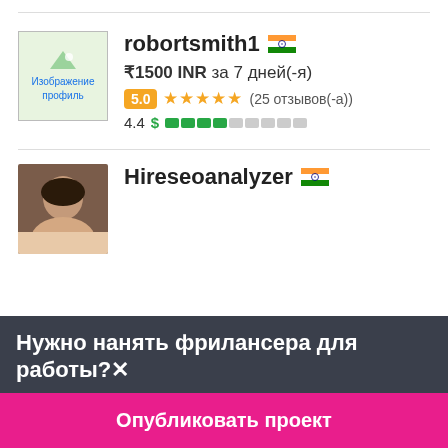[Figure (photo): Profile image placeholder with text Изображение профиль]
robortsmith1 🇮🇳
₹1500 INR за 7 дней(-я)
5.0 ★★★★★ (25 отзывов(-а))
4.4 $ ████░░░░░
[Figure (photo): Profile photo of Hireseoanalyzer user]
Hireseoanalyzer 🇮🇳
Нужно нанять фрилансера для работы?✕
Опубликовать проект